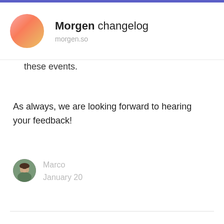Morgen changelog — morgen.so
these events.
As always, we are looking forward to hearing your feedback!
Marco
January 20
Powered by Headway